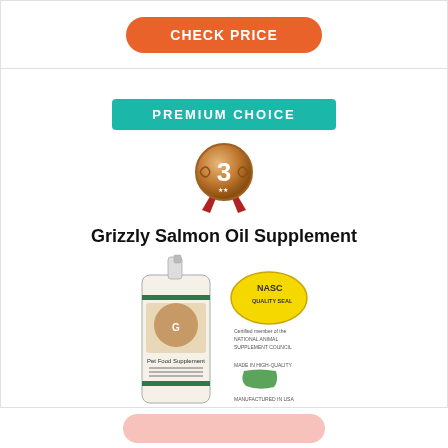[Figure (other): Orange rounded 'CHECK PRICE' button at top of page]
PREMIUM CHOICE
[Figure (other): Bronze medal with number 3 and red ribbon]
Grizzly Salmon Oil Supplement
[Figure (photo): Product image of Grizzly Salmon Oil Supplement bottle with pump, alongside NASC quality seal and Made in USA badge]
Rigorously tested for purity
No animals are caught purely to make the oil
Made from human-grade fish